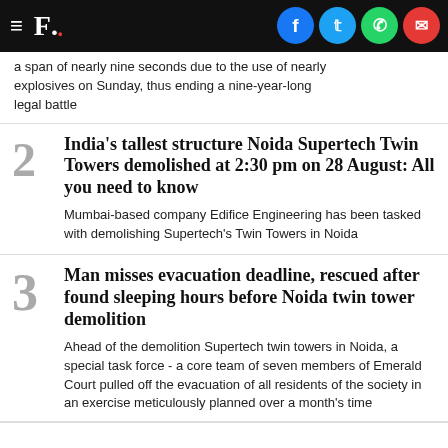F. [social icons: Facebook, Twitter, WhatsApp, Email]
a span of nearly nine seconds due to the use of nearly explosives on Sunday, thus ending a nine-year-long legal battle
India's tallest structure Noida Supertech Twin Towers demolished at 2:30 pm on 28 August: All you need to know
Mumbai-based company Edifice Engineering has been tasked with demolishing Supertech's Twin Towers in Noida
Man misses evacuation deadline, rescued after found sleeping hours before Noida twin tower demolition
Ahead of the demolition Supertech twin towers in Noida, a special task force - a core team of seven members of Emerald Court pulled off the evacuation of all residents of the society in an exercise meticulously planned over a month's time